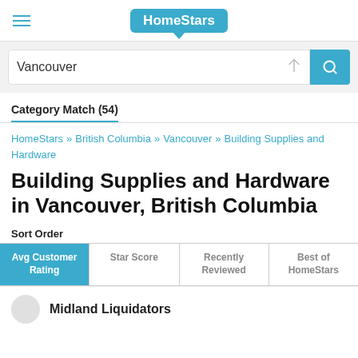HomeStars
Vancouver
Category Match (54)
HomeStars » British Columbia » Vancouver » Building Supplies and Hardware
Building Supplies and Hardware in Vancouver, British Columbia
Sort Order
| Avg Customer Rating | Star Score | Recently Reviewed | Best of HomeStars |
| --- | --- | --- | --- |
Midland Liquidators